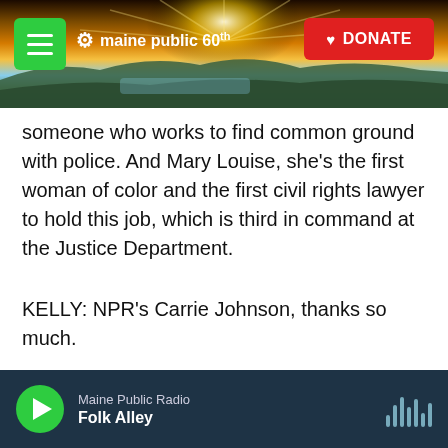[Figure (screenshot): Maine Public 60th anniversary logo with hamburger menu button on left and red DONATE button on right, over a sunset landscape background photo]
someone who works to find common ground with police. And Mary Louise, she's the first woman of color and the first civil rights lawyer to hold this job, which is third in command at the Justice Department.
KELLY: NPR's Carrie Johnson, thanks so much.
JOHNSON: My pleasure. Transcript provided by NPR, Copyright NPR.
[Figure (other): Social sharing buttons: Facebook (blue), Twitter (blue), LinkedIn (blue), Email (outline)]
Maine Public Radio  Folk Alley